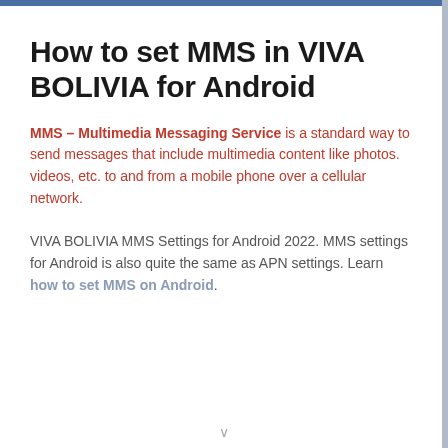How to set MMS in VIVA BOLIVIA for Android
MMS – Multimedia Messaging Service is a standard way to send messages that include multimedia content like photos. videos, etc. to and from a mobile phone over a cellular network.
VIVA BOLIVIA MMS Settings for Android 2022. MMS settings for Android is also quite the same as APN settings. Learn how to set MMS on Android.